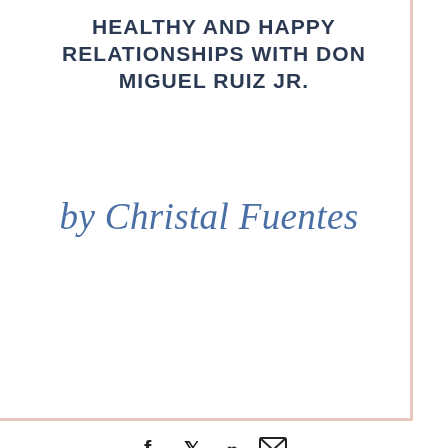HEALTHY AND HAPPY RELATIONSHIPS WITH DON MIGUEL RUIZ JR.
by Christal Fuentes
[Figure (infographic): Social share icons: Facebook (f), Twitter (bird), Pinterest (p), Email (envelope)]
Christal sits down with best selling author don Miguel Ruiz Jr. again to discuss his latest co-authored book called “The Seven Secrets to Healthy, Happy Relationships.” – Is unconditional love attainable in intimate relationships? – Can freedom in relationships